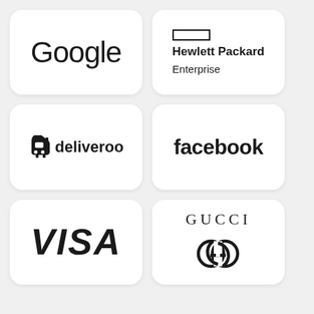[Figure (logo): Google logo in black text on white rounded card]
[Figure (logo): Hewlett Packard Enterprise logo with rectangle icon and bold text on white rounded card]
[Figure (logo): Deliveroo logo with kangaroo icon and wordmark on white rounded card]
[Figure (logo): Facebook wordmark in bold black on white rounded card]
[Figure (logo): VISA wordmark in bold italic black on white rounded card]
[Figure (logo): Gucci logo with GUCCI text and interlocked GG symbol on white rounded card]